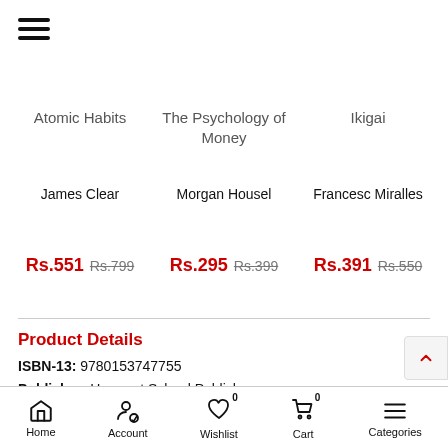[Figure (other): Hamburger menu icon (three horizontal lines)]
Atomic Habits
The Psychology of Money
Ikigai
James Clear
Morgan Housel
Francesc Miralles
Rs.551  Rs.799
Rs.295  Rs.399
Rs.391  Rs.550
Product Details
ISBN-13: 9780153747755
Publisher: Harcourt School Publishers
Publisher Imprint: Harcourt School Publishers
Height: 44 mm
No of Pages: 2
Home  Account  Wishlist  Cart  Categories